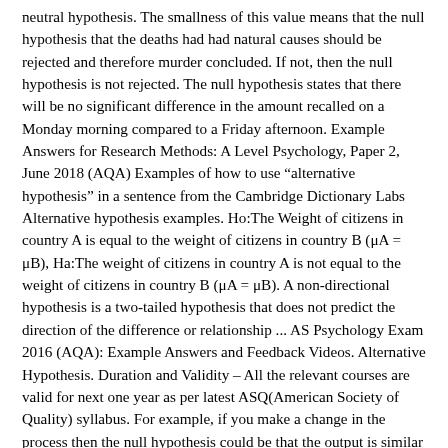neutral hypothesis. The smallness of this value means that the null hypothesis that the deaths had had natural causes should be rejected and therefore murder concluded. If not, then the null hypothesis is not rejected. The null hypothesis states that there will be no significant difference in the amount recalled on a Monday morning compared to a Friday afternoon. Example Answers for Research Methods: A Level Psychology, Paper 2, June 2018 (AQA) Examples of how to use “alternative hypothesis” in a sentence from the Cambridge Dictionary Labs Alternative hypothesis examples. Ho:The Weight of citizens in country A is equal to the weight of citizens in country B (μA = μB), Ha:The weight of citizens in country A is not equal to the weight of citizens in country B (μA = μB). A non-directional hypothesis is a two-tailed hypothesis that does not predict the direction of the difference or relationship ... AS Psychology Exam 2016 (AQA): Example Answers and Feedback Videos. Alternative Hypothesis. Duration and Validity – All the relevant courses are valid for next one year as per latest ASQ(American Society of Quality) syllabus. For example, if you make a change in the process then the null hypothesis could be that the output is similar from both the previous and changed process. Going back to the above example of mean human body temperature, the alternative hypothesis is “The average adult human body temperature is not 98.6 degrees Fahrenheit.” If we are studying a new treatment, then the alternative hypothesis is that our treatment does, in fact, change